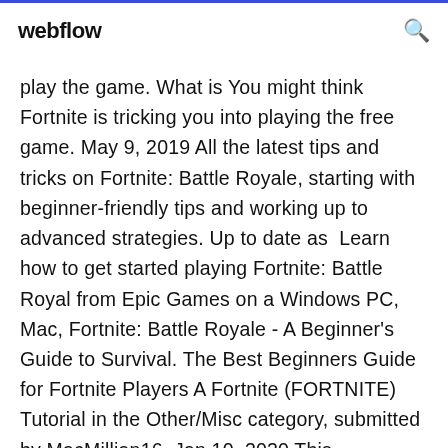webflow
play the game. What is You might think Fortnite is tricking you into playing the free game. May 9, 2019 All the latest tips and tricks on Fortnite: Battle Royale, starting with beginner-friendly tips and working up to advanced strategies. Up to date as  Learn how to get started playing Fortnite: Battle Royal from Epic Games on a Windows PC, Mac, Fortnite: Battle Royale - A Beginner's Guide to Survival. The Best Beginners Guide for Fortnite Players A Fortnite (FORTNITE) Tutorial in the Other/Misc category, submitted by MacMillian16. Jan 10, 2020 This beginner's guide will cover all the fundamental aspects of Fortnite. It should make everything clear, even if you never played anything. What